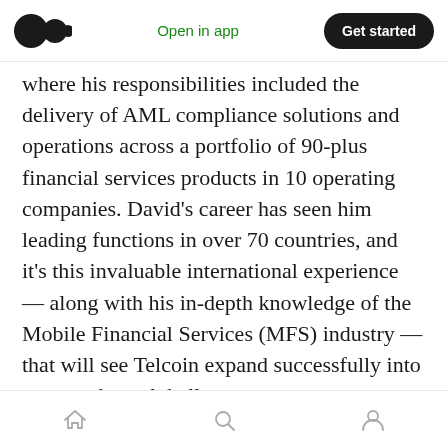Open in app | Get started
where his responsibilities included the delivery of AML compliance solutions and operations across a portfolio of 90-plus financial services products in 10 operating companies. David's career has seen him leading functions in over 70 countries, and it's this invaluable international experience — along with his in-depth knowledge of the Mobile Financial Services (MFS) industry — that will see Telcoin expand successfully into new markets globally.
Natsumi Bolton, based in Tokyo, joins Telcoin as Japan Country Manager and Asia Regional